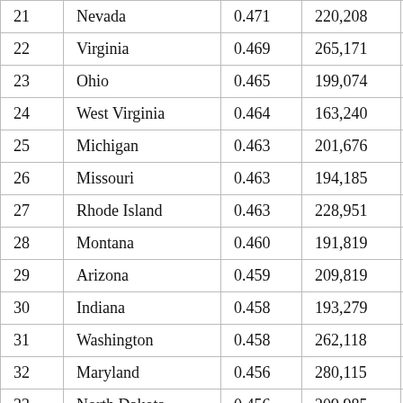| 21 | Nevada | 0.471 | 220,208 | 14,42… |
| 22 | Virginia | 0.469 | 265,171 | 17,13… |
| 23 | Ohio | 0.465 | 199,074 | 13,60… |
| 24 | West Virginia | 0.464 | 163,240 | 10,64… |
| 25 | Michigan | 0.463 | 201,676 | 13,97… |
| 26 | Missouri | 0.463 | 194,185 | 13,29… |
| 27 | Rhode Island | 0.463 | 228,951 | 14,82… |
| 28 | Montana | 0.460 | 191,819 | 13,89… |
| 29 | Arizona | 0.459 | 209,819 | 14,75… |
| 30 | Indiana | 0.458 | 193,279 | 13,98… |
| 31 | Washington | 0.458 | 262,118 | 18,57… |
| 32 | Maryland | 0.456 | 280,115 | 18,90… |
| 33 | North Dakota | 0.456 | 209,985 | 15,06… |
| 34 | Colorado | 0.455 | 255,114 | 18,41… |
| 35 | Delaware | 0.451 | 224,894 | 15,94… |